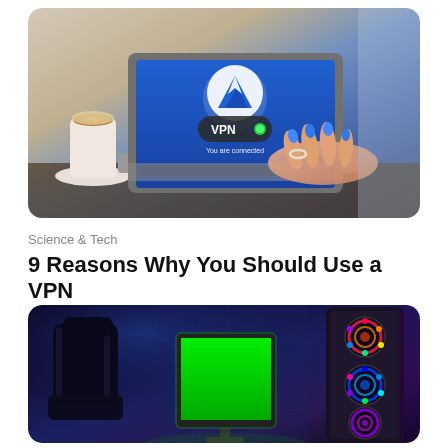[Figure (photo): Photo of a laptop with NordVPN interface on screen showing 'VPN' with a green connected indicator and text 'You are connected'. A hand with blue nail polish and a ring is touching the keyboard. A coffee cup is visible to the left. Background is blurred.]
Science & Tech
9 Reasons Why You Should Use a VPN
[Figure (photo): Photo of a gaming setup with a gaming chair (dark, in shadow), a monitor showing a bright green screen, and an RGB gaming PC tower with colorful fans on the right. The room is lit with blue/purple ambient lighting.]